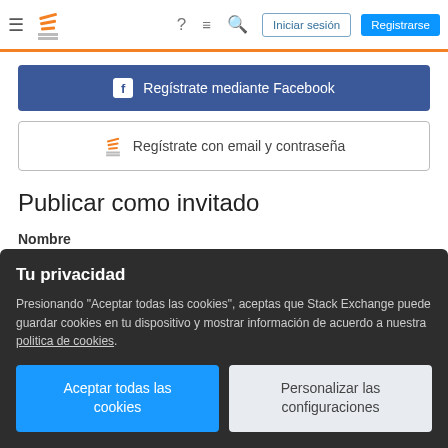Stack Exchange navigation bar with hamburger menu, logo, help, chat, search icons, Iniciar sesión and Registrarse buttons
Regístrate mediante Facebook
Regístrate con email y contraseña
Publicar como invitado
Nombre
Correo electrónico
Tu privacidad
Presionando "Aceptar todas las cookies", aceptas que Stack Exchange puede guardar cookies en tu dispositivo y mostrar información de acuerdo a nuestra politica de cookies.
Aceptar todas las cookies
Personalizar las configuraciones